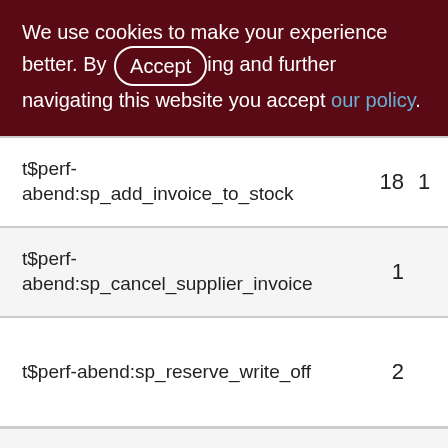We use cookies to make your experience better. By accepting and further navigating this website you accept our policy.
| Name | Col2 | Col3 |
| --- | --- | --- |
| t$perf-abend:sp_add_invoice_to_stock | 18 | 1 |
| t$perf-abend:sp_cancel_supplier_invoice | 1 |  |
| t$perf-abend:sp_reserve_write_off | 2 |  |
| t$perf-norm:sp_add_invoice_to_stock | 62 | 6 |
| t$perf-norm:sp_cancel_adding_invoice | 9 |  |